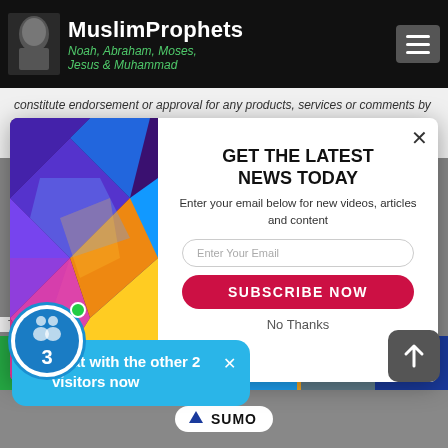MuslimProphets Noah, Abraham, Moses, Jesus & Muhammad
constitute endorsement or approval for any products, services or comments by organizations or individuals. External links text may be edited to improve internal
[Figure (screenshot): Colorful geometric 3D cube illustration used as modal background image on left side]
GET THE LATEST NEWS TODAY
Enter your email below for new videos, articles and content
Enter Your Email
SUBSCRIBE NOW
No Thanks
⚡ Chat with the other 2 visitors now
[Figure (logo): SUMO badge with crown icon]
This on our webs
Social sharing bar with WhatsApp, Facebook, Like, Twitter, SMS, Share icons